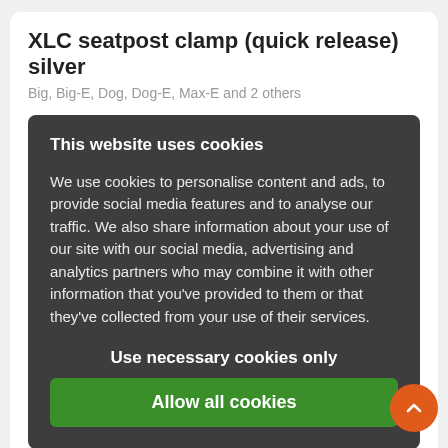XLC seatpost clamp (quick release) silver
Big, Big-E, Dog, Dog-E, Max-E and 2 others
This website uses cookies
We use cookies to personalise content and ads, to provide social media features and to analyse our traffic. We also share information about your use of our site with our social media, advertising and analytics partners who may combine it with other information that you've provided to them or that they've collected from your use of their services.
Use necessary cookies only
Allow all cookies
Babboe inner tube 26 inch